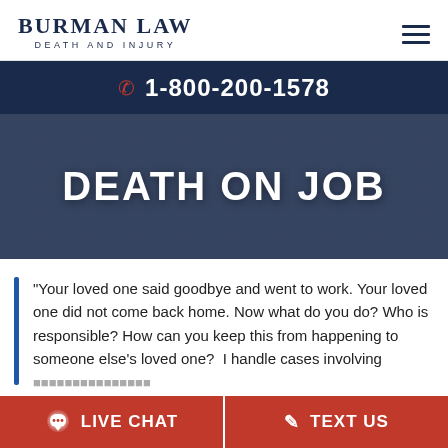BURMAN LAW — DEATH AND INJURY
1-800-200-1578
DEATH ON JOB
"Your loved one said goodbye and went to work. Your loved one did not come back home. Now what do you do? Who is responsible? How can you keep this from happening to someone else's loved one?  I handle cases involving wrongful death at work. — Mike B...
LIVE CHAT
TEXT US